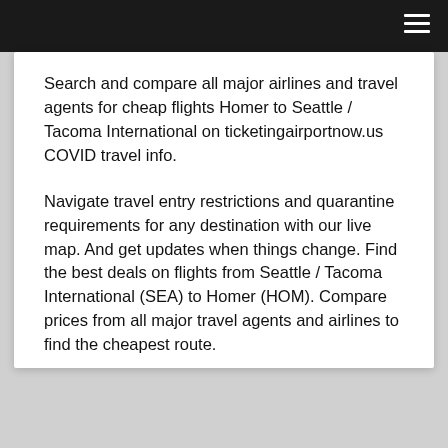Search and compare all major airlines and travel agents for cheap flights Homer to Seattle / Tacoma International on ticketingairportnow.us COVID travel info.
Navigate travel entry restrictions and quarantine requirements for any destination with our live map. And get updates when things change. Find the best deals on flights from Seattle / Tacoma International (SEA) to Homer (HOM). Compare prices from all major travel agents and airlines to find the cheapest route.